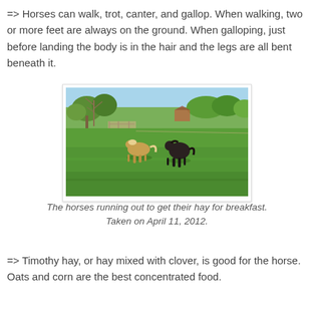=> Horses can walk, trot, canter, and gallop. When walking, two or more feet are always on the ground. When galloping, just before landing the body is in the hair and the legs are all bent beneath it.
[Figure (photo): Two horses in a green field with trees in the background. One horse is light-colored (palomino/tan) on the left and one is dark (dark brown/black) on the right. Taken outdoors on a sunny day.]
The horses running out to get their hay for breakfast. Taken on April 11, 2012.
=> Timothy hay, or hay mixed with clover, is good for the horse. Oats and corn are the best concentrated food.